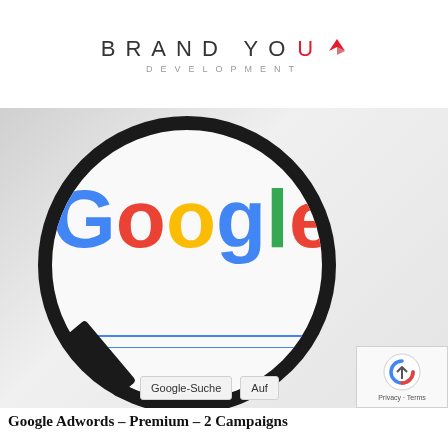[Figure (logo): Brand Your Development logo — stylized text with red Y accent and a small bird/arrow icon]
[Figure (photo): A magnifying glass held over a Google search page, showing the Google logo in blue, red, yellow, green lettering, a search bar with blue lines, Google-Suche and Auf buttons, and a reCAPTCHA badge in the bottom-right corner.]
Google Adwords – Premium – 2 Campaigns